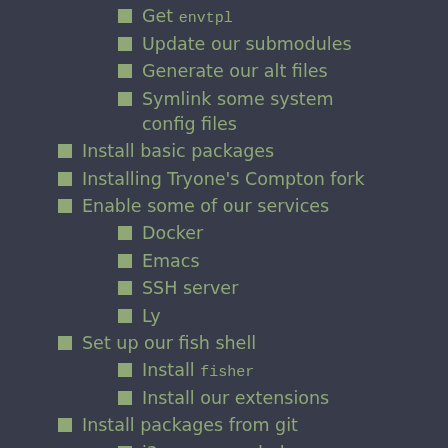Get envtpl
Update our submodules
Generate our alt files
Symlink some system config files
Install basic packages
Installing Tryone's Compton fork
Enable some of our services
Docker
Emacs
SSH server
Ly
Set up our fish shell
Install fisher
Install our extensions
Install packages from git
i3-gaps rounded